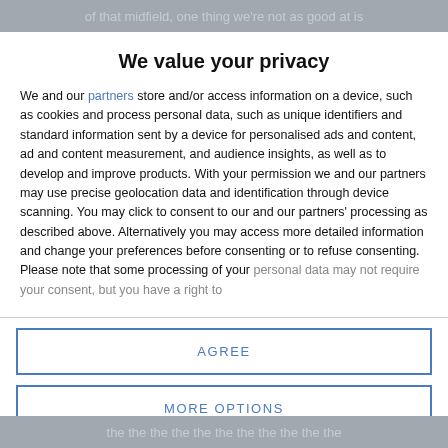of that midfield, one thing we're not as good at is
We value your privacy
We and our partners store and/or access information on a device, such as cookies and process personal data, such as unique identifiers and standard information sent by a device for personalised ads and content, ad and content measurement, and audience insights, as well as to develop and improve products. With your permission we and our partners may use precise geolocation data and identification through device scanning. You may click to consent to our and our partners' processing as described above. Alternatively you may access more detailed information and change your preferences before consenting or to refuse consenting. Please note that some processing of your personal data may not require your consent, but you have a right to
AGREE
MORE OPTIONS
the the the the the the the the the the the